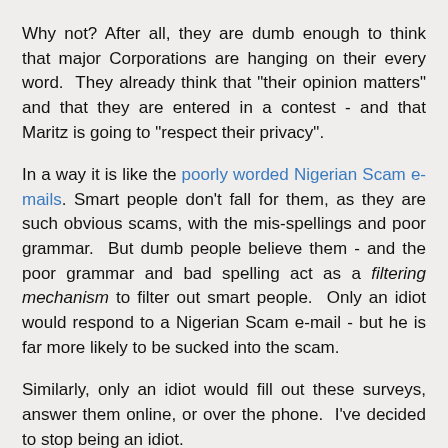Why not? After all, they are dumb enough to think that major Corporations are hanging on their every word.  They already think that "their opinion matters" and that they are entered in a contest - and that Maritz is going to "respect their privacy".
In a way it is like the poorly worded Nigerian Scam e-mails. Smart people don't fall for them, as they are such obvious scams, with the mis-spellings and poor grammar.  But dumb people believe them - and the poor grammar and bad spelling act as a filtering mechanism to filter out smart people.  Only an idiot would respond to a Nigerian Scam e-mail - but he is far more likely to be sucked into the scam.
Similarly, only an idiot would fill out these surveys, answer them online, or over the phone.  I've decided to stop being an idiot.
* * *
Of course, the interesting thing is, how did they know to send me the survey?  Well, someone must have sold my name...